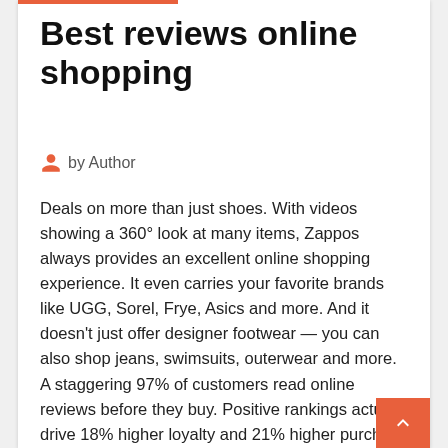Best reviews online shopping
by Author
Deals on more than just shoes. With videos showing a 360° look at many items, Zappos always provides an excellent online shopping experience. It even carries your favorite brands like UGG, Sorel, Frye, Asics and more. And it doesn't just offer designer footwear — you can also shop jeans, swimsuits, outerwear and more.
A staggering 97% of customers read online reviews before they buy. Positive rankings actually drive 18% higher loyalty and 21% higher purchase satisfaction   No matter what a shopping website sells, it should provide value and quality, make shopping easy, deliver products on time, and provide good customer support. Join 6+ million members who believe th safety, fairness and honesty matter. On At one shopping website, it was good for "Browse" found 100 to...